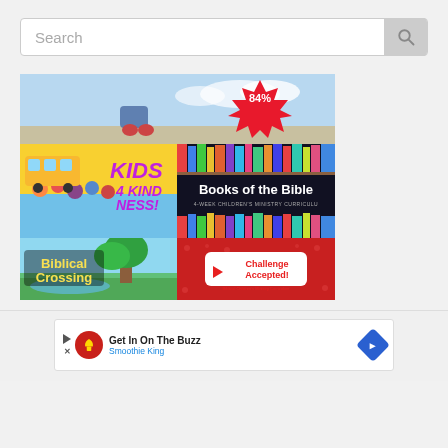Search
[Figure (screenshot): Banner image showing a child figure with a red starburst badge showing '84%' discount, sky background with clouds]
[Figure (screenshot): Kids 4 Kindness children's ministry curriculum thumbnail with cartoon children on yellow/blue background]
[Figure (screenshot): Books of the Bible - 4-Week Children's Ministry Curriculum thumbnail with colorful books on dark background]
[Figure (screenshot): Biblical Crossing children's ministry curriculum thumbnail with nature/forest background]
[Figure (screenshot): Challenge Accepted! Biblical Children's Ministry Curriculum thumbnail with red background and white badge]
Get In On The Buzz
Smoothie King